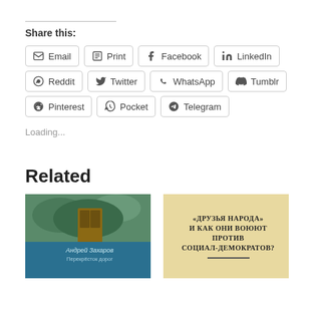Share this:
Email
Print
Facebook
LinkedIn
Reddit
Twitter
WhatsApp
Tumblr
Pinterest
Pocket
Telegram
Loading...
Related
[Figure (photo): Book cover 1: illustrated cover with Russian text 'Андрей Захаров' and partial title]
[Figure (photo): Book cover 2: yellowish aged cover with Russian text '«ДРУЗЬЯ НАРОДА» И КАК ОНИ ВОЮЮТ ПРОТИВ СОЦИАЛ-ДЕМОКРАТОВ?']